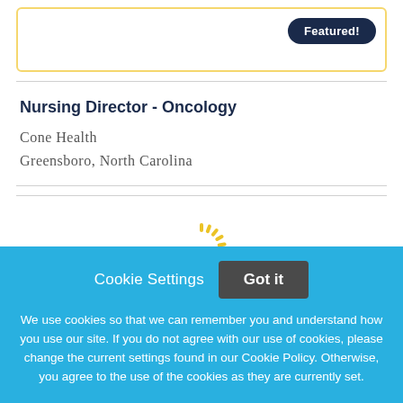[Figure (other): Featured job card with yellow border and Featured! badge button in dark navy]
Nursing Director - Oncology
Cone Health
Greensboro, North Carolina
[Figure (illustration): Partial sun/logo icon in yellow-gold at bottom of white content area]
Cookie Settings
Got it
We use cookies so that we can remember you and understand how you use our site. If you do not agree with our use of cookies, please change the current settings found in our Cookie Policy. Otherwise, you agree to the use of the cookies as they are currently set.